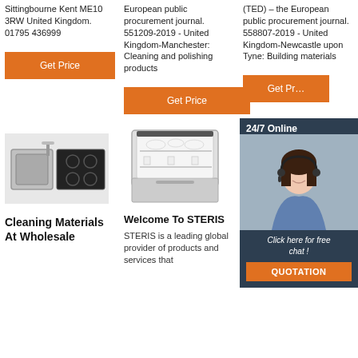Sittingbourne Kent ME10 3RW United Kingdom. 01795 436999
European public procurement journal. 551209-2019 - United Kingdom-Manchester: Cleaning and polishing products
(TED) – the European public procurement journal. 558807-2019 - United Kingdom-Newcastle upon Tyne: Building materials
[Figure (other): Orange 'Get Price' button]
[Figure (other): Orange 'Get Price' button]
[Figure (other): Orange 'Get Price' button (partially visible)]
[Figure (other): Photo of a kitchen sink with induction hob]
[Figure (other): Photo of an open dishwasher loaded with dishes]
[Figure (other): Photo of a white washing machine]
Welcome To STERIS
STERIS is a leading global provider of products and services that
Cleaning Materials At Wholesale
TOP 10 Biggest Panel For Walls Wholesale
[Figure (other): 24/7 Online chat widget with customer service representative photo, text 'Click here for free chat!' and orange QUOTATION button]